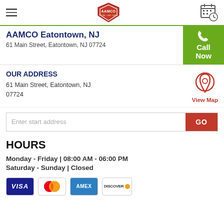AAMCO — navigation header with hamburger menu, AAMCO logo, and schedule icon
AAMCO Eatontown, NJ
61 Main Street, Eatontown, NJ 07724
OUR ADDRESS
61 Main Street, Eatontown, NJ 07724
Enter start address — GO button
HOURS
Monday - Friday | 08:00 AM - 06:00 PM
Saturday - Sunday | Closed
[Figure (logo): Payment card logos: VISA, Mastercard, AMEX, Discover]